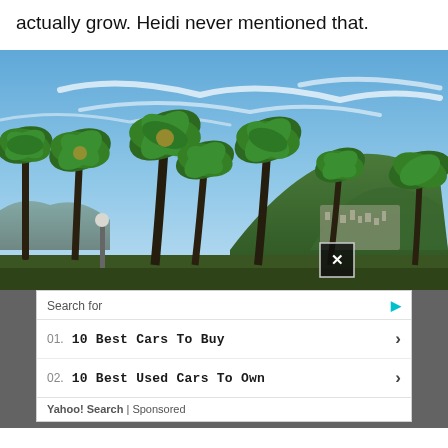actually grow. Heidi never mentioned that.
[Figure (photo): Palm trees in the foreground with a green mountain and cityscape in the background under a blue sky with wispy clouds. A close button (X) is visible in the lower right corner of the image.]
Search for
01. 10 Best Cars To Buy
02. 10 Best Used Cars To Own
Yahoo! Search | Sponsored